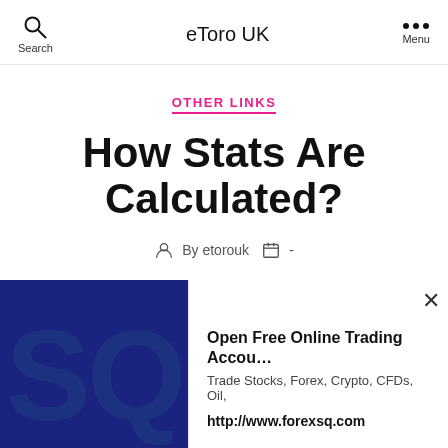eToro UK
OTHER LINKS
How Stats Are Calculated?
By etorouk -
[Figure (screenshot): Advertisement overlay showing forexsq.com ad with text 'Open Free Online Trading Accou... Trade Stocks, Forex, Crypto, CFDs, Oil,' and URL 'http://www.forexsq.com', with large dark blue SQ logo on left side and X close button]
Open Free Online Trading Accou... Trade Stocks, Forex, Crypto, CFDs, Oil,
http://www.forexsq.com